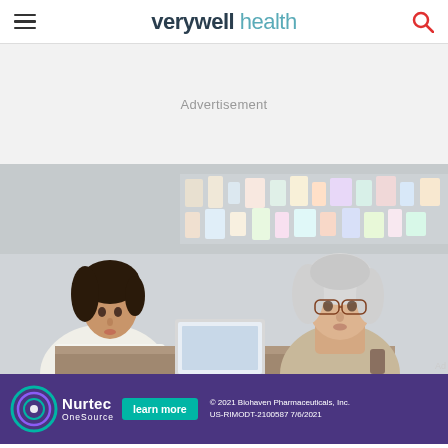verywell health
Advertisement
[Figure (photo): A pharmacist (young woman with dark hair, white coat) consulting with an older woman with white hair and glasses across a pharmacy counter, with pharmacy shelves in background and a laptop/computer on the counter.]
[Figure (infographic): Nurtec OneSource advertisement banner with circular logo, 'learn more' button, and copyright text: © 2021 Biohaven Pharmaceuticals, Inc. US-RIMODT-2100587 7/6/2021]